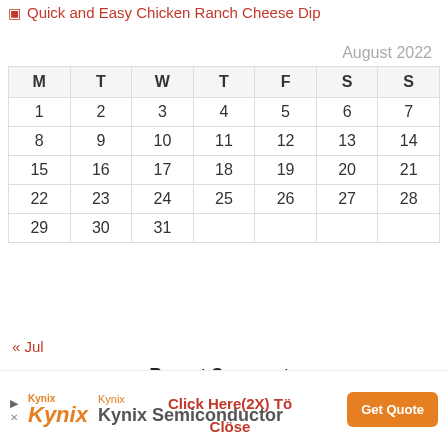Quick and Easy Chicken Ranch Cheese Dip
August 2022
| M | T | W | T | F | S | S |
| --- | --- | --- | --- | --- | --- | --- |
| 1 | 2 | 3 | 4 | 5 | 6 | 7 |
| 8 | 9 | 10 | 11 | 12 | 13 | 14 |
| 15 | 16 | 17 | 18 | 19 | 20 | 21 |
| 22 | 23 | 24 | 25 | 26 | 27 | 28 |
| 29 | 30 | 31 |  |  |  |  |
« Jul
Recent Comments
Mojoblogs on Creamy Chicken Pasta with Crispy Chicken Ba...
Click Here(2X) Tö Clöse
[Figure (other): Kynix Semiconductor advertisement banner with Get Quote button]